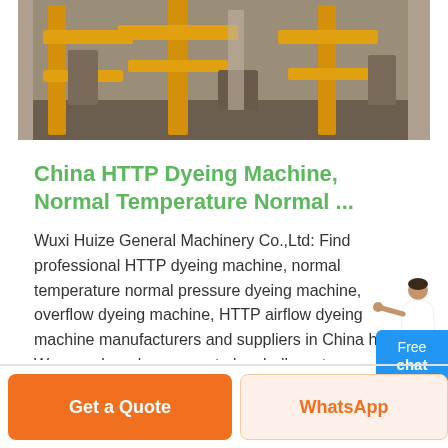[Figure (photo): Industrial machinery photo showing yellow metal frame structures in a workshop or factory setting]
China HTTP Dyeing Machine, Normal Temperature Normal ...
Wuxi Huize General Machinery Co.,Ltd: Find professional HTTP dyeing machine, normal temperature normal pressure dyeing machine, overflow dyeing machine, HTTP airflow dyeing machine manufacturers and suppliers in China here. We warmly welcome you to buy bulk custom made products at competitive price from our factory. Contact us for more details.